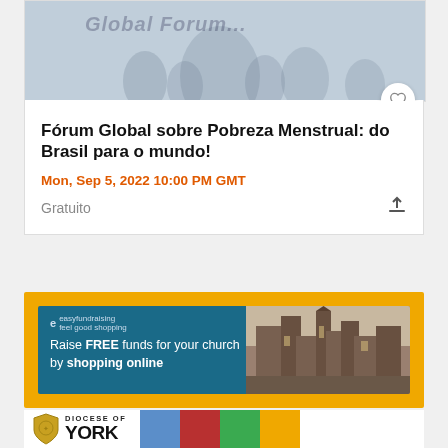[Figure (photo): Event cover image with faded/watermarked text at the top, light blue-grey tones suggesting a group photo]
Fórum Global sobre Pobreza Menstrual: do Brasil para o mundo!
Mon, Sep 5, 2022 10:00 PM GMT
Gratuito
[Figure (infographic): Easyfundraising advertisement banner on yellow background. Text reads: Raise FREE funds for your church by shopping online. Features a blue background panel on the left with a photo of a cathedral/church street on the right.]
[Figure (logo): Diocese of York logo with shield icon, followed by colored blocks in blue, red, green, and yellow]